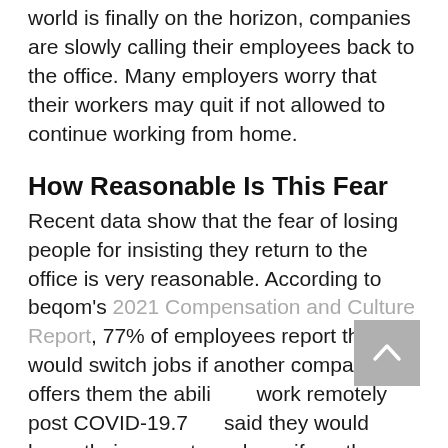world is finally on the horizon, companies are slowly calling their employees back to the office. Many employers worry that their workers may quit if not allowed to continue working from home.
How Reasonable Is This Fear
Recent data show that the fear of losing people for insisting they return to the office is very reasonable. According to beqom's 2021 Compensation and Culture Report, 77% of employees report they would switch jobs if another company offers them the abili work remotely post COVID-19. 7 said they would leave their current employer if another company